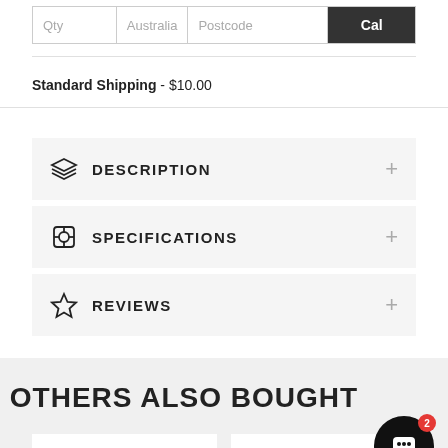| Qty | Australia | Postcode | Cal |
| --- | --- | --- | --- |
|  |
Standard Shipping - $10.00
DESCRIPTION
SPECIFICATIONS
REVIEWS
OTHERS ALSO BOUGHT